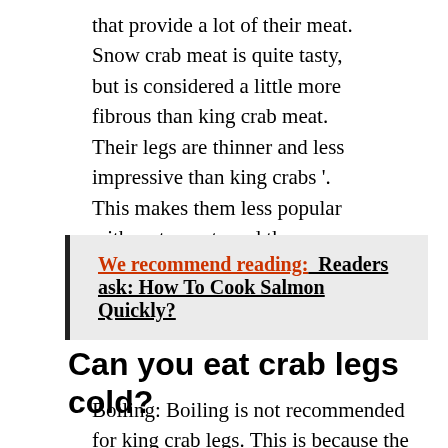that provide a lot of their meat. Snow crab meat is quite tasty, but is considered a little more fibrous than king crab meat. Their legs are thinner and less impressive than king crabs '. This makes them less popular with restaurants and thus more affordable for you.
We recommend reading:  Readers ask: How To Cook Salmon Quickly?
Can you eat crab legs cold?
Boiling: Boiling is not recommended for king crab legs. This is because the meat is so delicate in flavor that cooking it directly in water or using a